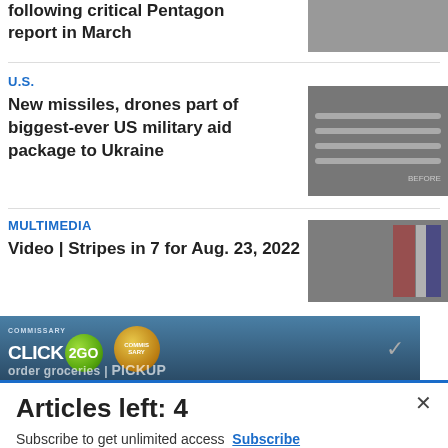following critical Pentagon report in March
U.S.
New missiles, drones part of biggest-ever US military aid package to Ukraine
[Figure (photo): Military artillery/missiles stacked in storage]
MULTIMEDIA
Video | Stripes in 7 for Aug. 23, 2022
[Figure (photo): Soldiers standing in front of American flag]
[Figure (photo): Commissary Click2Go advertisement banner]
Articles left: 4
Subscribe to get unlimited access Subscribe Already have an account? Login here